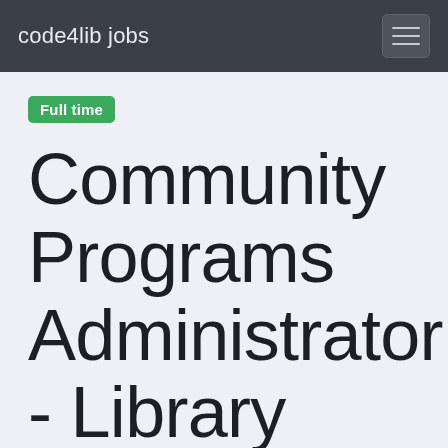code4lib jobs
Full time
Community Programs Administrator - Library Technology